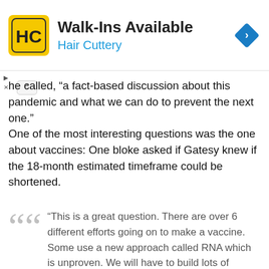[Figure (other): Hair Cuttery advertisement banner with yellow HC logo, text 'Walk-Ins Available' and 'Hair Cuttery', and a blue navigation diamond icon on the right.]
he called, “a fact-based discussion about this pandemic and what we can do to prevent the next one.”
One of the most interesting questions was the one about vaccines: One bloke asked if Gatesy knew if the 18-month estimated timeframe could be shortened.
“This is a great question. There are over 6 different efforts going on to make a vaccine. Some use a new approach called RNA which is unproven. We will have to build lots of manufacturing for the different approaches knowing that some of them will not work. We will need literally billions of vaccines to